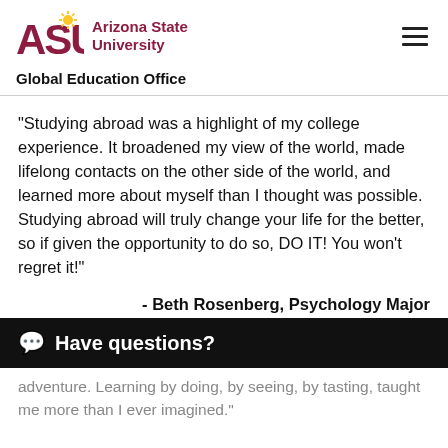[Figure (logo): Arizona State University logo with ASU letters in maroon and gold sun icon, with 'Arizona State University' text in maroon]
Global Education Office
“Studying abroad was a highlight of my college experience. It broadened my view of the world, made lifelong contacts on the other side of the world, and learned more about myself than I thought was possible. Studying abroad will truly change your life for the better, so if given the opportunity to do so, DO IT! You won’t regret it!”
- Beth Rosenberg, Psychology Major
Have questions?
adventure. Learning by doing, by seeing, by tasting, taught me more than I ever imagined.”